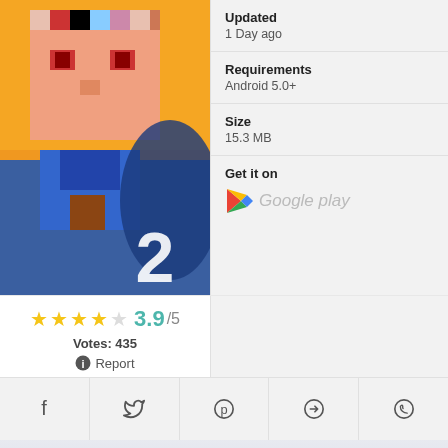[Figure (screenshot): App icon for a pixel-art style game showing a blocky character face with orange/blue/pink colors, with a large white '2' in the bottom right corner]
Updated
1 Day ago
Requirements
Android 5.0+
Size
15.3 MB
Get it on
Google play
3.9/5
Votes: 435
Report
[Figure (logo): Appyn logo in white on dark background with hamburger menu icon]
Appyn